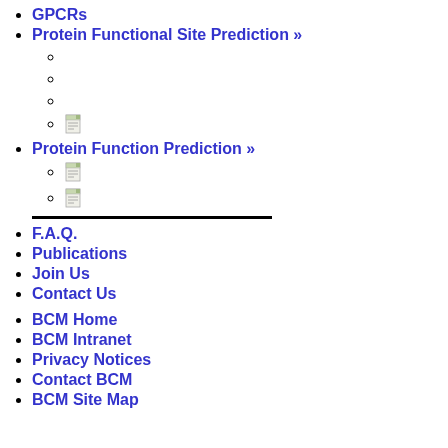GPCRs
Protein Functional Site Prediction »
(sub-item image 1)
(sub-item image 2)
(sub-item image 3)
(sub-item image 4)
Protein Function Prediction »
(sub-item image 1)
(sub-item image 2)
separator
F.A.Q.
Publications
Join Us
Contact Us
BCM Home
BCM Intranet
Privacy Notices
Contact BCM
BCM Site Map